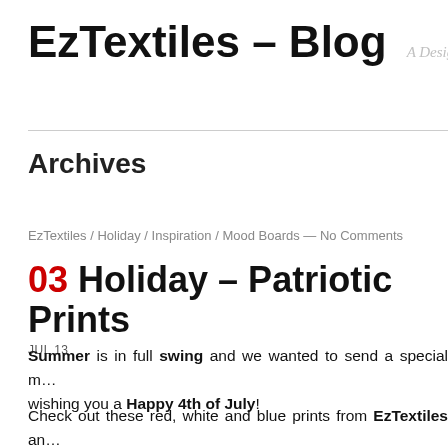EzTextiles – Blog
A Design Portal To
Archives
EzTextiles / Holiday / Inspiration / Mood Boards — No Comments
03 Holiday – Patriotic Prints
JUL 13
Summer is in full swing and we wanted to send a special message wishing you a Happy 4th of July!
Check out these red, white and blue prints from EzTextiles and our theme collection. We'd invite for art inspiration as well as